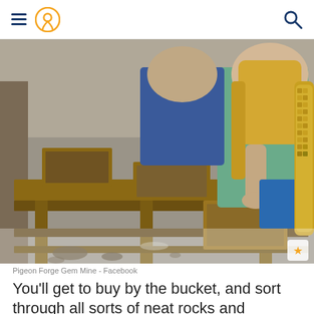Menu | Location icon | Search
[Figure (photo): People sifting dirt through wooden boxes at Pigeon Forge Gem Mine, with a corn cob visible on the right side]
Pigeon Forge Gem Mine - Facebook
You'll get to buy by the bucket, and sort through all sorts of neat rocks and goodies. If it sounds a bit vague, that's